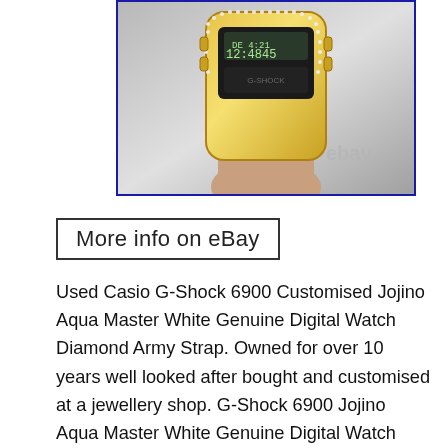[Figure (photo): A gold/diamond customised Casio G-Shock 6900 watch held up by a hand, showing the digital display reading DE 4:21 and 12:48:45, with an eBay watermark in the lower right.]
More info on eBay
Used Casio G-Shock 6900 Customised Jojino Aqua Master White Genuine Digital Watch Diamond Army Strap. Owned for over 10 years well looked after bought and customised at a jewellery shop. G-Shock 6900 Jojino Aqua Master White Genuine Digital Watch Diamond Army Strap. Also comes with a original black face and replacement straps. The item “G-Shock 6900 Jojino Aqua Master White Genuine Digital Watch Diamond Army Strap” is in sale since Wednesday, April 21, 2021. This item is in the category “Jewellery & Watches\Watches